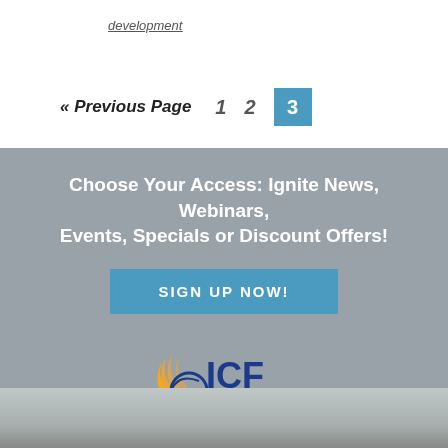development
« Previous Page   1   2   3
Choose Your Access: Ignite News, Webinars, Events, Specials or Discount Offers!
SIGN UP NOW!
[Figure (logo): ICF International Coach Federation logo with yellow wing symbol and blue text]